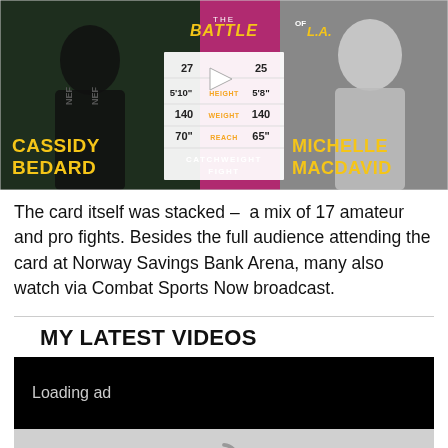[Figure (photo): MMA fight card promotional image showing Cassidy Bedard vs Michelle MacDavid – The Battle of L.A. Catchweight Fight, with fighter stats (age 27 vs 25, height 5'10" vs 5'8", weight 140 vs 140, reach 70" vs 65")]
The card itself was stacked – a mix of 17 amateur and pro fights. Besides the full audience attending the card at Norway Savings Bank Arena, many also watch via Combat Sports Now broadcast.
MY LATEST VIDEOS
[Figure (screenshot): Video player showing 'Loading ad' on black background with loading spinner below on gray background]